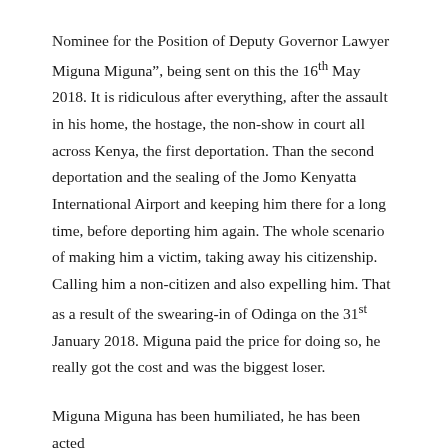Nominee for the Position of Deputy Governor Lawyer Miguna Miguna”, being sent on this the 16th May 2018. It is ridiculous after everything, after the assault in his home, the hostage, the non-show in court all across Kenya, the first deportation. Than the second deportation and the sealing of the Jomo Kenyatta International Airport and keeping him there for a long time, before deporting him again. The whole scenario of making him a victim, taking away his citizenship. Calling him a non-citizen and also expelling him. That as a result of the swearing-in of Odinga on the 31st January 2018. Miguna paid the price for doing so, he really got the cost and was the biggest loser.
Miguna Miguna has been humiliated, he has been acted